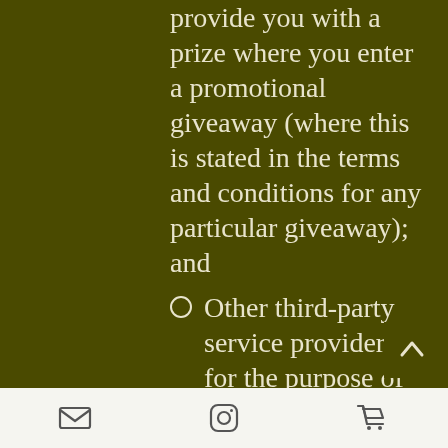provide you with a prize where you enter a promotional giveaway (where this is stated in the terms and conditions for any particular giveaway); and
Other third-party service providers, for the purpose of providing or tracking our customers' use of the Services (which may include organisations providing remarketing services such as Google, Criteo, and Facebook), providing recruitment platform services and booking platform